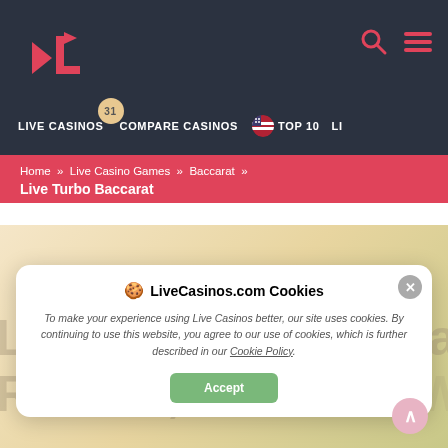LiveCasinos.com navigation bar with logo, search, menu, Live Casinos (31), Compare Casinos, TOP 10, LI
Home » Live Casino Games » Baccarat »
Live Turbo Baccarat
[Figure (screenshot): Cookie consent modal overlay on LiveCasinos.com page. Header: '🍪 LiveCasinos.com Cookies'. Body: 'To make your experience using Live Casinos better, our site uses cookies. By continuing to use this website, you agree to our use of cookies, which is further described in our Cookie Policy.' Accept button. Background shows faint text 'Live Turbo Baccarat: Our Review, How and Whe...']
Live Turbo Baccarat: Our Review, How and Whe...